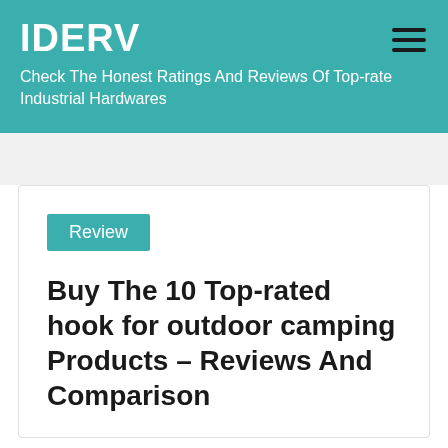IDERV
Check The Honest Ratings And Reviews Of Top-rate Industrial Hardwares
Review
Buy The 10 Top-rated hook for outdoor camping Products – Reviews And Comparison